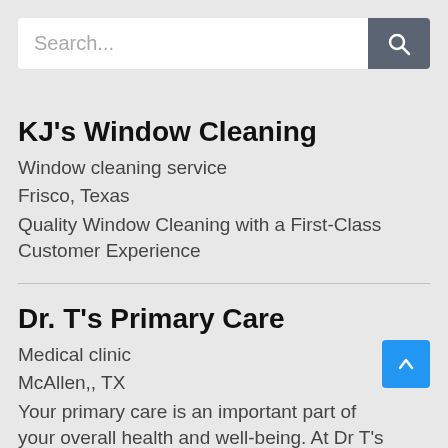[Figure (screenshot): Search bar with text input placeholder 'Search...' and a dark grey search button with magnifying glass icon]
KJ's Window Cleaning
Window cleaning service
Frisco, Texas
Quality Window Cleaning with a First-Class Customer Experience
Dr. T's Primary Care
Medical clinic
McAllen,, TX
Your primary care is an important part of your overall health and well-being. At Dr T's